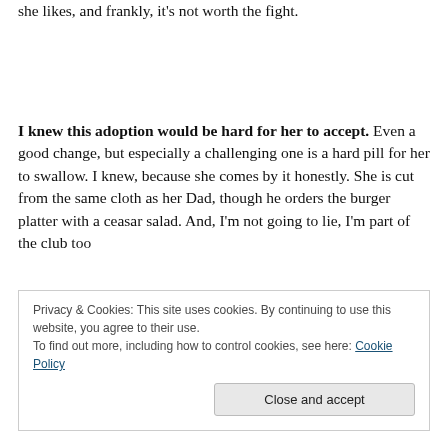she likes, and frankly, it's not worth the fight.
I knew this adoption would be hard for her to accept. Even a good change, but especially a challenging one is a hard pill for her to swallow. I knew, because she comes by it honestly. She is cut from the same cloth as her Dad, though he orders the burger platter with a ceasar salad. And, I'm not going to lie, I'm part of the club too
Privacy & Cookies: This site uses cookies. By continuing to use this website, you agree to their use.
To find out more, including how to control cookies, see here: Cookie Policy
with a smile of your face. You may wonder, "Why would he